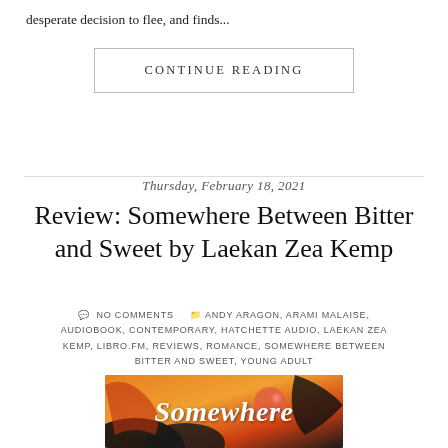desperate decision to flee, and finds...
CONTINUE READING
Thursday, February 18, 2021
Review: Somewhere Between Bitter and Sweet by Laekan Zea Kemp
NO COMMENTS   ANDY ARAGON, ARAMI MALAISE, AUDIOBOOK, CONTEMPORARY, HATCHETTE AUDIO, LAEKAN ZEA KEMP, LIBRO.FM, REVIEWS, ROMANCE, SOMEWHERE BETWEEN BITTER AND SWEET, YOUNG ADULT
[Figure (photo): Book cover of 'Somewhere Between Bitter and Sweet' showing illustrated figures with orange/warm color palette and the word 'Somewhere' in white script lettering]